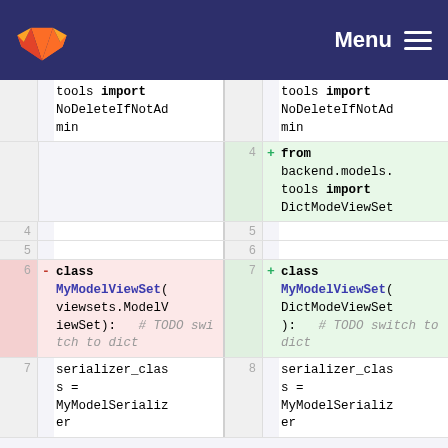GitLab Menu
[Figure (screenshot): A code diff view showing two columns (old and new). Left side shows removed lines (pink background) and right side shows added lines (green background). The diff shows a Python file being modified: the class MyModelViewSet is changed from inheriting viewsets.ModelViewSet to DictModeViewSet, with a new import added for DictModeViewSet from backend.models.tools.]